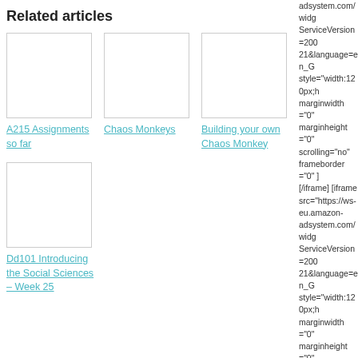Related articles
[Figure (illustration): Thumbnail placeholder for A215 Assignments so far]
A215 Assignments so far
[Figure (illustration): Thumbnail placeholder for Chaos Monkeys]
Chaos Monkeys
[Figure (illustration): Thumbnail placeholder for Building your own Chaos Monkey]
Building your own Chaos Monkey
[Figure (illustration): Thumbnail placeholder for Dd101 Introducing the Social Sciences – Week 25]
Dd101 Introducing the Social Sciences – Week 25
adsystem.com/widg ServiceVersion=200 21&language=en_G style="width:120px;h marginwidth="0" marginheight="0" scrolling="no" frameborder="0" ] [/iframe] [iframe src="https://ws-eu.amazon-adsystem.com/widg ServiceVersion=200 21&language=en_G style="width:120px;h marginwidth="0" marginheight="0" scrolling="no" frameborder="0" ] [/iframe]
Currently Reading